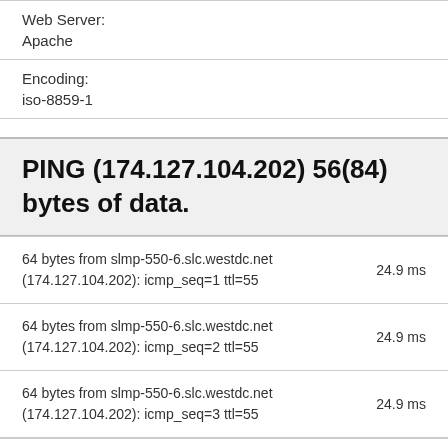Web Server:
Apache
Encoding:
iso-8859-1
PING (174.127.104.202) 56(84) bytes of data.
64 bytes from slmp-550-6.slc.westdc.net (174.127.104.202): icmp_seq=1 ttl=55    24.9 ms
64 bytes from slmp-550-6.slc.westdc.net (174.127.104.202): icmp_seq=2 ttl=55    24.9 ms
64 bytes from slmp-550-6.slc.westdc.net (174.127.104.202): icmp_seq=3 ttl=55    24.9 ms
--- ping statistics ---
3 packets transmitted, 3 received, 0% packet loss